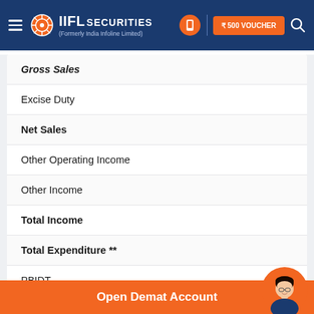IIFL Securities (Formerly India Infoline Limited) | ₹500 VOUCHER
Gross Sales
Excise Duty
Net Sales
Other Operating Income
Other Income
Total Income
Total Expenditure **
PBIDT
Interest
PBDT
Open Demat Account